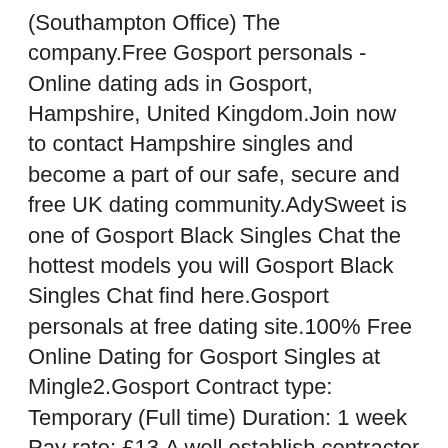(Southampton Office) The company.Free Gosport personals - Online dating ads in Gosport, Hampshire, United Kingdom.Join now to contact Hampshire singles and become a part of our safe, secure and free UK dating community.AdySweet is one of Gosport Black Singles Chat the hottest models you will Gosport Black Singles Chat find here.Gosport personals at free dating site.100% Free Online Dating for Gosport Singles at Mingle2.Gosport Contract type: Temporary (Full time) Duration: 1 week Pay rate: £13.A well establish contractor that operates in various sectors such as the industrials, education, commercial and refurbishment space.Synergy Medical are looking for a Registered Nurse (RGN) to work within the private care Home w locations.Huffington Post - Dating: A collection of love and dating articles.On GoSporty you're more likely to fall in love with someone more exciting than a lazy couch-potato FREE POF DATING APP FOR gosport.Join our